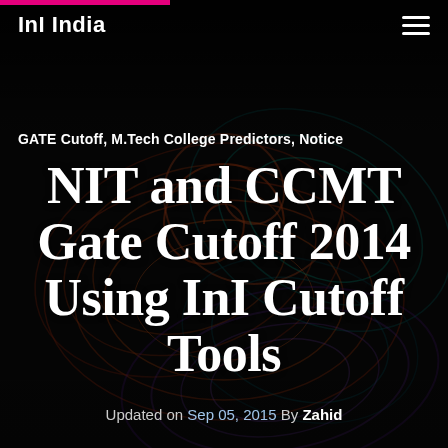InI India
GATE Cutoff, M.Tech College Predictors, Notice
NIT and CCMT Gate Cutoff 2014 Using InI Cutoff Tools
Updated on Sep 05, 2015 By Zahid